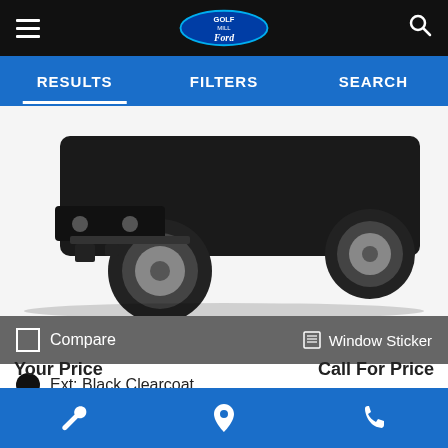Golf Mill Ford — navigation header with hamburger menu, logo, and search icon
RESULTS   FILTERS   SEARCH
[Figure (photo): Rear underside angle of a black truck/SUV showing tires, wheels, bumper and undercarriage on a white background]
Compare   Window Sticker
Ext: Black Clearcoat
Stock #: VW11808C
60,236 mi.
Available for Transfer
Your Price   Call For Price
Bottom toolbar with wrench icon, map pin icon, and phone icon